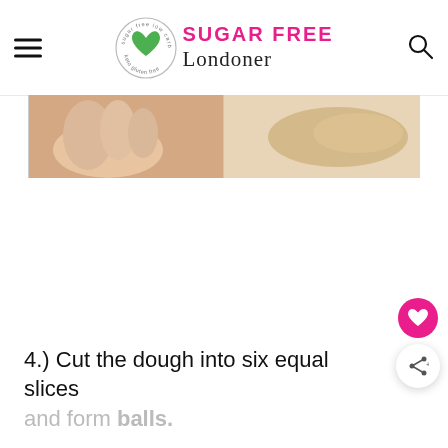SUGAR FREE Londoner
[Figure (photo): Close-up photo of hands working with dough on a light wooden surface, split into two panels]
4.) Cut the dough into six equal slices and form balls.